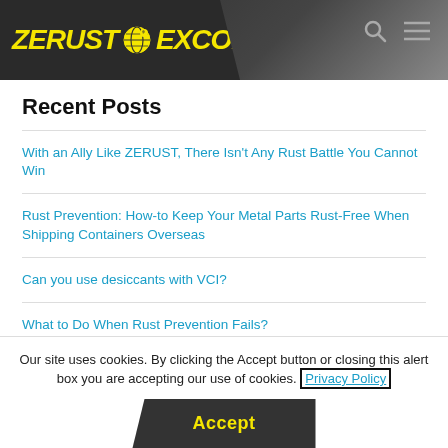[Figure (logo): ZERUST EXCOR logo with globe icon on dark background header bar]
Recent Posts
With an Ally Like ZERUST, There Isn't Any Rust Battle You Cannot Win
Rust Prevention: How-to Keep Your Metal Parts Rust-Free When Shipping Containers Overseas
Can you use desiccants with VCI?
What to Do When Rust Prevention Fails?
Using Electrochemical Impedance Spectroscopy (EIS) Method for a Better Understanding of the Corrosion System
Our site uses cookies. By clicking the Accept button or closing this alert box you are accepting our use of cookies. Privacy Policy